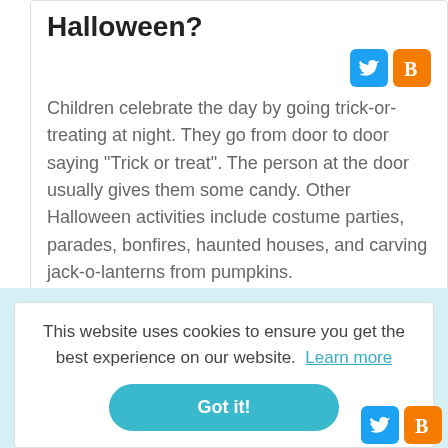Halloween?
[Figure (other): Social media share icons: Twitter (blue bird) and Blogger (orange B)]
Children celebrate the day by going trick-or-treating at night. They go from door to door saying "Trick or treat". The person at the door usually gives them some candy. Other Halloween activities include costume parties, parades, bonfires, haunted houses, and carving jack-o-lanterns from pumpkins.
This website uses cookies to ensure you get the best experience on our website.  Learn more
Got it!
[Figure (other): Social media share icons: Twitter (blue bird) and Blogger (orange B) at bottom]